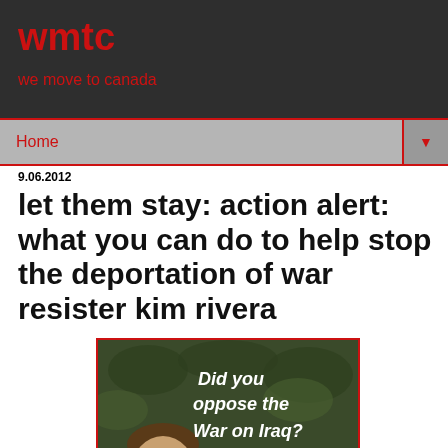wmtc
we move to canada
Home
9.06.2012
let them stay: action alert: what you can do to help stop the deportation of war resister kim rivera
[Figure (photo): A child's face with white handwritten text overlaid reading 'Did you oppose the War on Iraq? So did I.' against a dark leafy background.]